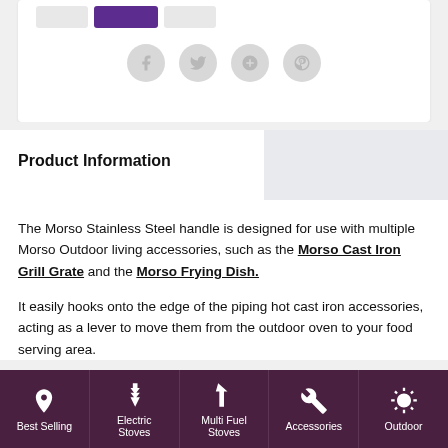[Figure (screenshot): Top of page showing button row (gray, purple, gray buttons) and four social sharing icons (Facebook, Twitter, Google+, Pinterest) as gray circles on white card background]
Product Information
The Morso Stainless Steel handle is designed for use with multiple Morso Outdoor living accessories, such as the Morso Cast Iron Grill Grate and the Morso Frying Dish.
It easily hooks onto the edge of the piping hot cast iron accessories, acting as a lever to move them from the outdoor oven to your food serving area.
Best Selling | Electric Stoves | Multi Fuel Stoves | Accessories | Outdoor